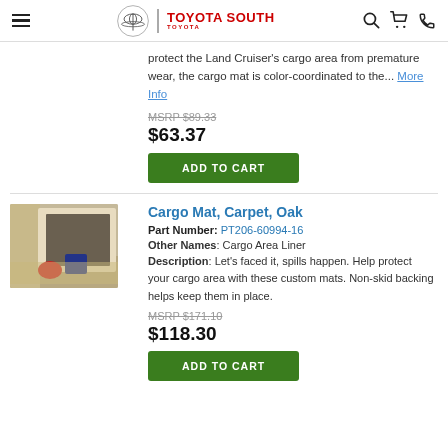Toyota South
protect the Land Cruiser's cargo area from premature wear, the cargo mat is color-coordinated to the... More Info
MSRP $89.33
$63.37
ADD TO CART
Cargo Mat, Carpet, Oak
Part Number: PT206-60994-16
Other Names: Cargo Area Liner
Description: Let's faced it, spills happen. Help protect your cargo area with these custom mats. Non-skid backing helps keep them in place.
MSRP $171.10
$118.30
ADD TO CART